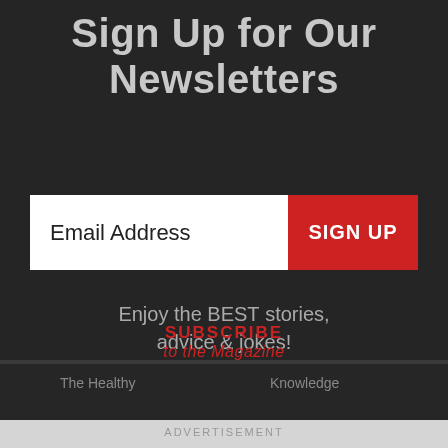Sign Up for Our Newsletters
Email Address
SIGN UP
Enjoy the BEST stories, advice & jokes!
SUBSCRIBE to the Magazine
The Healthy
Knowledge
ADVERTISEMENT